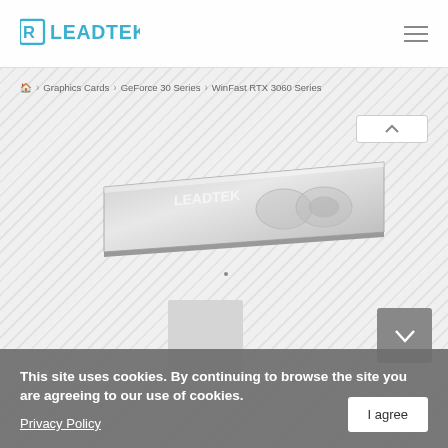[Figure (logo): Leadtek logo in blue/teal with stylized R and square icon]
Home > Graphics Cards > GeForce 30 Series > WinFast RTX 3060 Series
[Figure (photo): WinFast RTX 3060 graphics card shown from a side/top angle with metallic appearance]
[Figure (thumbnail): Small thumbnail image of the graphics card]
This site uses cookies. By continuing to browse the site you are agreeing to our use of cookies.
Privacy Policy